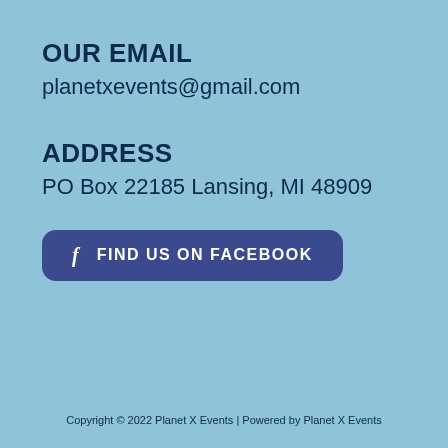OUR EMAIL
planetxevents@gmail.com
ADDRESS
PO Box 22185 Lansing, MI 48909
[Figure (other): Facebook button with 'f' icon and text 'FIND US ON FACEBOOK']
Copyright © 2022 Planet X Events | Powered by Planet X Events